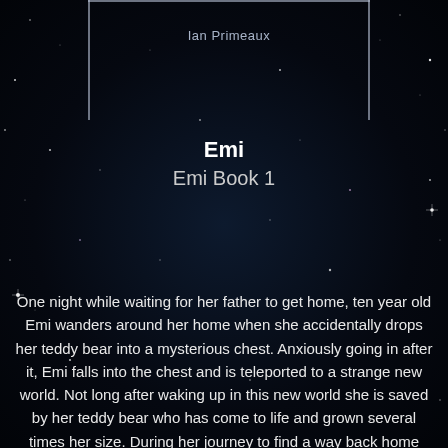Ian Primeaux
Emi
Emi Book 1
One night while waiting for her father to get home, ten year old Emi wanders around her home when she accidentally drops her teddy bear into a mysterious chest. Anxiously going in after it, Emi falls into the chest and is teleported to a strange new world. Not long after waking up in this new world she is saved by her teddy bear who has come to life and grown several times her size. During her journey to find a way back home Emi meets several new friends including a royal guard, a scientist, and many others. Her focus changes from looking for a way home once she begins uncovering clues that her father may actually be in the strange land also! With the help of her new friends Emi embarks on a journey